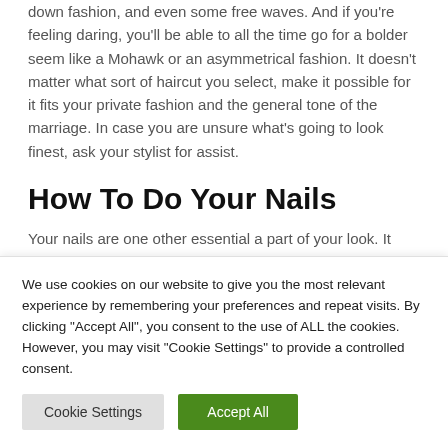down fashion, and even some free waves. And if you're feeling daring, you'll be able to all the time go for a bolder seem like a Mohawk or an asymmetrical fashion. It doesn't matter what sort of haircut you select, make it possible for it fits your private fashion and the general tone of the marriage. In case you are unsure what's going to look finest, ask your stylist for assist.
How To Do Your Nails
Your nails are one other essential a part of your look. It
We use cookies on our website to give you the most relevant experience by remembering your preferences and repeat visits. By clicking "Accept All", you consent to the use of ALL the cookies. However, you may visit "Cookie Settings" to provide a controlled consent.